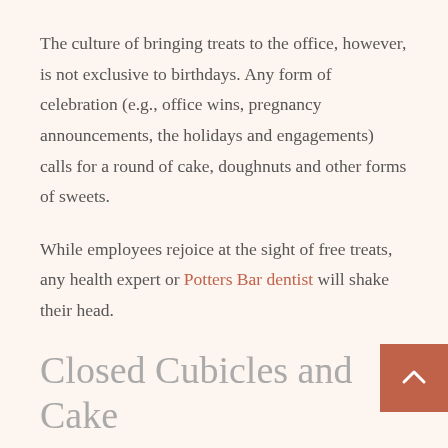The culture of bringing treats to the office, however, is not exclusive to birthdays. Any form of celebration (e.g., office wins, pregnancy announcements, the holidays and engagements) calls for a round of cake, doughnuts and other forms of sweets.
While employees rejoice at the sight of free treats, any health expert or Potters Bar dentist will shake their head.
Closed Cubicles and Cake
The office is a wellspring of treats high in sugar. With workplaces moving on from the traditional bowl of candies, this fact is no longer surprising.
Offices now understand that food is the way to their employees' hearts. To encourage motivation and better performance, stock their kitchens with crisps, popcorn, sweets and other treats. During birthdays, they offer cake to the celebrants –